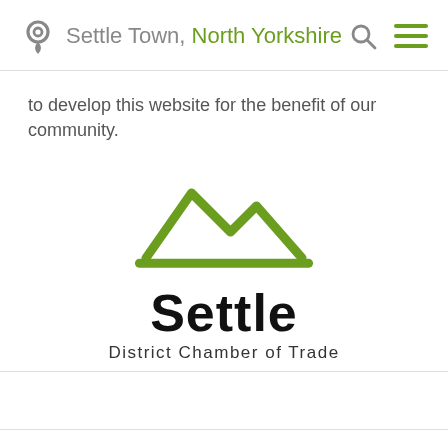Settle Town, North Yorkshire
to develop this website for the benefit of our community.
[Figure (logo): Settle District Chamber of Trade logo: green mountain outline above bold text 'Settle' and subtitle 'District Chamber of Trade']